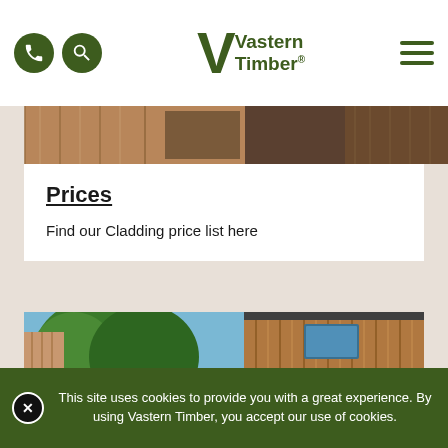Vastern Timber® — navigation header with phone icon, search icon, logo, and hamburger menu
[Figure (photo): Horizontal strip of timber cladding / building exterior photos at top of page]
Prices
Find our Cladding price list here
[Figure (photo): Photograph of a modern timber-clad building with vertical wood cladding, surrounded by tall green trees, with bicycles parked outside and a red chair visible]
✕  This site uses cookies to provide you with a great experience. By using Vastern Timber, you accept our use of cookies.